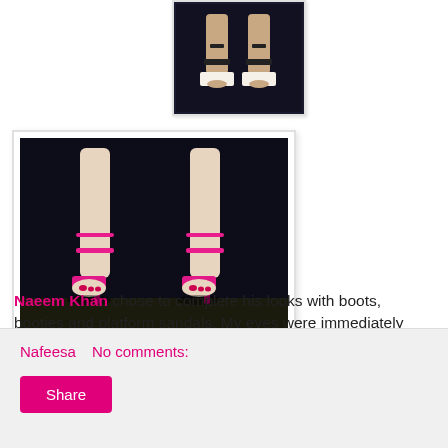[Figure (photo): Close-up photo of feet wearing black platform sandals with contrasting soles on a dark background]
[Figure (photo): Close-up photo of feet wearing bright pink high-heeled sandals with ankle straps on a dark background]
Naeem Khan chose to complete his looks with boots, booties and platform sandals. My eyes were immediately drawn to the patent sandals with contrasting platforms.
Nafeesa   No comments:
Share